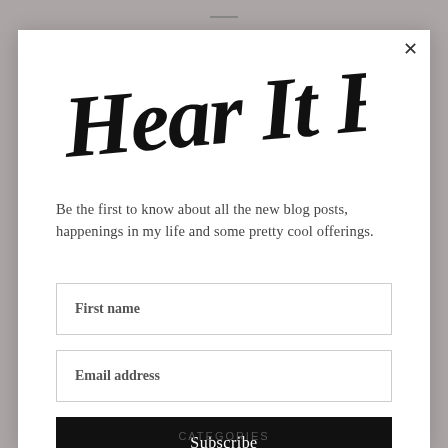[Figure (screenshot): Modal popup with handwritten-style logo 'Hear It First!!', subscription text, first name field, email address field, subscribe button, and categories label in background]
Hear It First!!
Be the first to know about all the new blog posts, happenings in my life and some pretty cool offerings.
First name
Email address
Subscribe
CATEGORIES